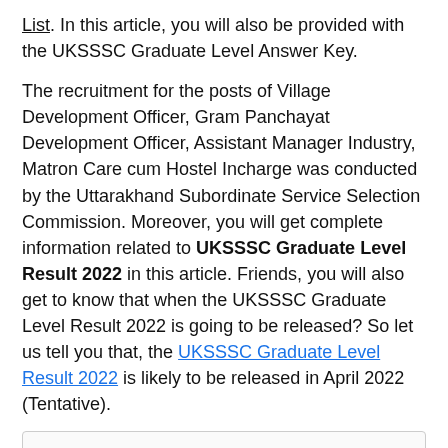List. In this article, you will also be provided with the UKSSSC Graduate Level Answer Key.
The recruitment for the posts of Village Development Officer, Gram Panchayat Development Officer, Assistant Manager Industry, Matron Care cum Hostel Incharge was conducted by the Uttarakhand Subordinate Service Selection Commission. Moreover, you will get complete information related to UKSSSC Graduate Level Result 2022 in this article. Friends, you will also get to know that when the UKSSSC Graduate Level Result 2022 is going to be released? So let us tell you that, the UKSSSC Graduate Level Result 2022 is likely to be released in April 2022 (Tentative).
Contents